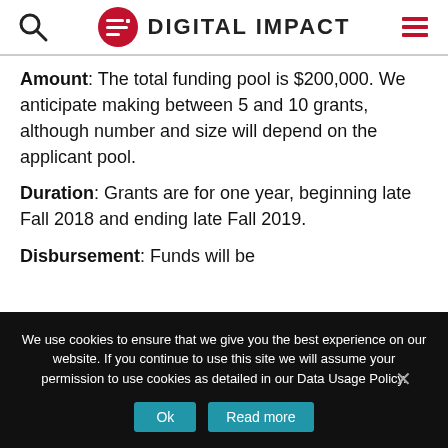DIGITAL IMPACT
Amount: The total funding pool is $200,000. We anticipate making between 5 and 10 grants, although number and size will depend on the applicant pool.
Duration: Grants are for one year, beginning late Fall 2018 and ending late Fall 2019.
Disbursement: Funds will be
We use cookies to ensure that we give you the best experience on our website. If you continue to use this site we will assume your permission to use cookies as detailed in our Data Usage Policy.